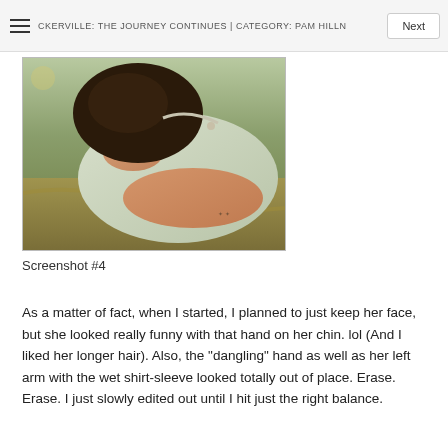CKERVILLE: THE JOURNEY CONTINUES | CATEGORY: PAM HILLN
[Figure (photo): A person lying outdoors in a field, wearing a light-colored shirt with their hand near their chin and dark hair visible, warm golden-hour lighting.]
Screenshot #4
As a matter of fact, when I started, I planned to just keep her face, but she looked really funny with that hand on her chin. lol (And I liked her longer hair). Also, the "dangling" hand as well as her left arm with the wet shirt-sleeve looked totally out of place. Erase. Erase. I just slowly edited out until I hit just the right balance.